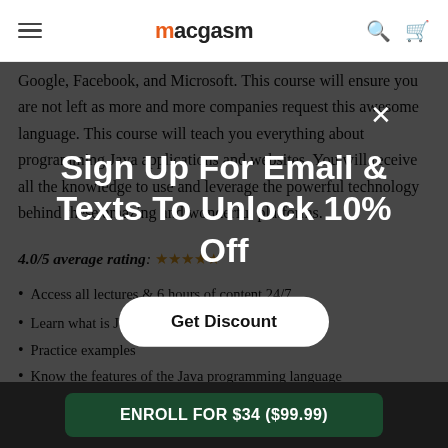macgasm
Google, Facebook, and Microsoft. This course will ensure you are not left as more and more companies request this awesome language. This course will teach you everything about programming Java applications and websites. You will receive all the knowledge to use and leverage the powerful technology behind these amazing and wonderful platforms.
4.0/5 average rating: ★★★★☆
Access all lectures & 6 hours of content 24/7
Learn what is Java
Practice examples
Know the features of the Java programming language
Understand coding semantics
[Figure (screenshot): Modal popup overlay with text 'Sign Up For Email & Texts To Unlock 10% Off' and a 'Get Discount' button on dark background]
Sign Up For Email & Texts To Unlock 10% Off
Get Discount
ENROLL FOR $34 ($99.99)